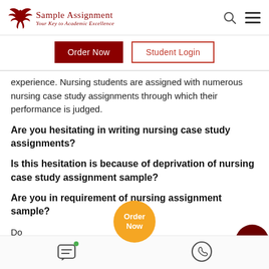[Figure (logo): Sample Assignment logo with bird and text 'Your Key to Academic Excellence']
Order Now
Student Login
experience. Nursing students are assigned with numerous nursing case study assignments through which their performance is judged.
Are you hesitating in writing nursing case study assignments?
Is this hesitation is because of deprivation of nursing case study assignment sample?
Are you in requirement of nursing assignment sample?